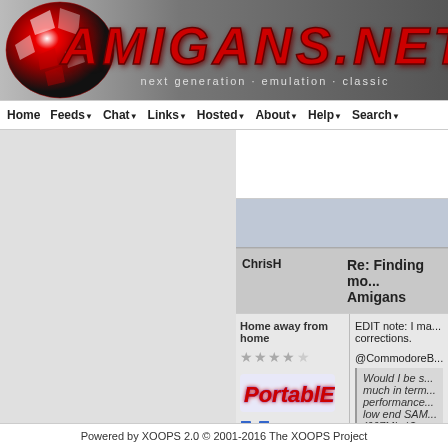[Figure (screenshot): Amigans.net website header banner with red checkered ball logo on left, red metallic AMIGANS.NET title text, tagline 'next generation · emulation · classic' on dark gradient background]
Home  Feeds  Chat  Links  Hosted  About  Help  Search
[Figure (screenshot): Left sidebar grey panel and right panel with white ad area and blue-grey banner area]
ChrisH
Re: Finding mo... Amigans
Home away from home
[Figure (illustration): Star rating: 4 grey stars out of 5]
[Figure (illustration): Portable badge text with blue glow effect on light background]
[Figure (illustration): Blue expand/fullscreen icon]
EDIT note: I ma... corrections.
@CommodoreB...
Would I be s... much in term... performance... low end SAM... (667Mhz)?
As a former Sa...
Powered by XOOPS 2.0 © 2001-2016 The XOOPS Project